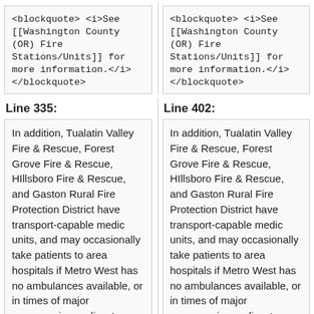<blockquote> <i>See [[Washington County (OR) Fire Stations/Units]] for more information.</i> </blockquote>
<blockquote> <i>See [[Washington County (OR) Fire Stations/Units]] for more information.</i> </blockquote>
Line 335:
Line 402:
In addition, Tualatin Valley Fire & Rescue, Forest Grove Fire & Rescue, HIllsboro Fire & Rescue, and Gaston Rural Fire Protection District have transport-capable medic units, and may occasionally take patients to area hospitals if Metro West has no ambulances available, or in times of major emergencies or disasters.
In addition, Tualatin Valley Fire & Rescue, Forest Grove Fire & Rescue, HIllsboro Fire & Rescue, and Gaston Rural Fire Protection District have transport-capable medic units, and may occasionally take patients to area hospitals if Metro West has no ambulances available, or in times of major emergencies or disasters.